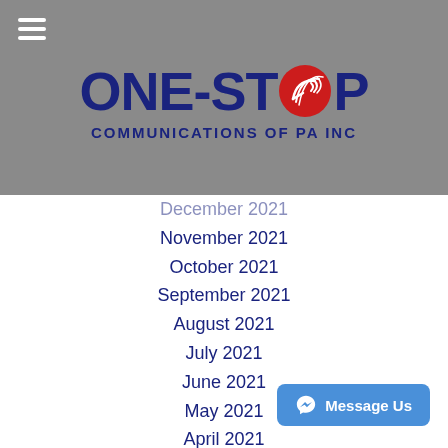[Figure (logo): One-Stop Communications of PA Inc logo with dark blue text and red satellite dish icon on grey background]
December 2021
November 2021
October 2021
September 2021
August 2021
July 2021
June 2021
May 2021
April 2021
March 2021
February 2021
December 2020
November 2020
October 2020
August 2020
July 2020
May 2020